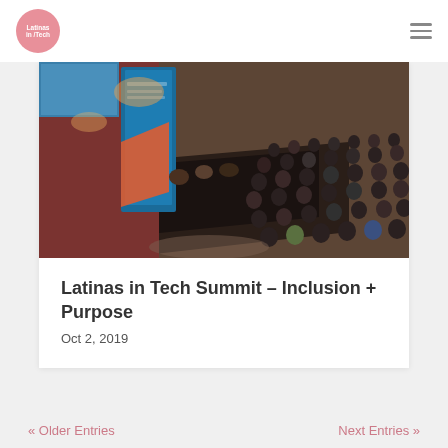Latinas in Tech
[Figure (photo): Aerial/overhead view of a Latinas in Tech Silicon Valley Summit conference event, showing a stage with panelists on the left with a branded banner, and a large audience seated on the right facing the stage, in an indoor venue.]
Latinas in Tech Summit – Inclusion + Purpose
Oct 2, 2019
« Older Entries
Next Entries »